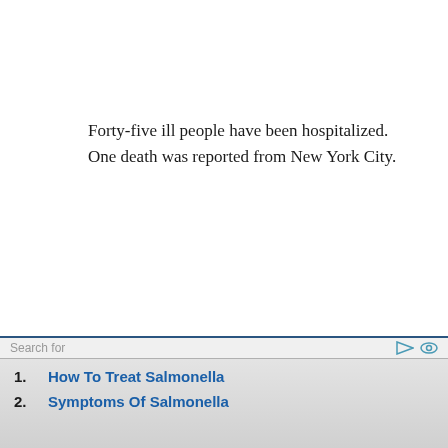Forty-five ill people have been hospitalized. One death was reported from New York City.
Search for
1. How To Treat Salmonella
2. Symptoms Of Salmonella